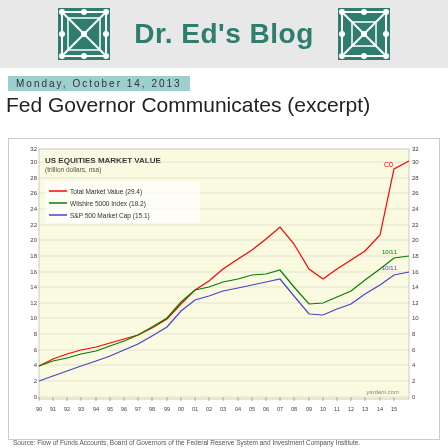Dr. Ed's Blog
Monday, October 14, 2013
Fed Governor Communicates (excerpt)
[Figure (line-chart): Line chart showing US Equities Market Value from 1990 to 2015 in trillion dollars, nsa. Three series: Total Market Value (29.4T), Wilshire 5000 Index (18.2), S&P 500 Market Cap (15.1). Source: Flow of Funds Accounts, Board of Governors of the Federal Reserve System and Investment Company Institute.]
Source: Flow of Funds Accounts, Board of Governors of the Federal Reserve System and Investment Company Institute.